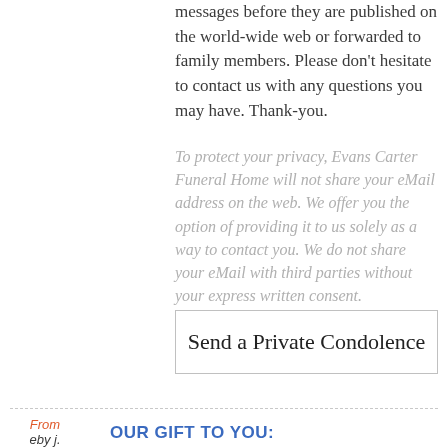messages before they are published on the world-wide web or forwarded to family members. Please don't hesitate to contact us with any questions you may have. Thank-you.
To protect your privacy, Evans Carter Funeral Home will not share your eMail address on the web. We offer you the option of providing it to us solely as a way to contact you. We do not share your eMail with third parties without your express written consent.
Send a Private Condolence
From
eby j.
OUR GIFT TO YOU: